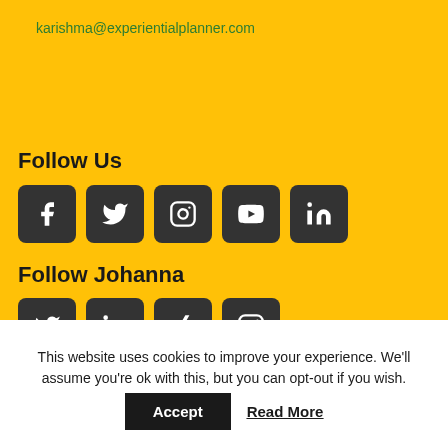karishma@experientialplanner.com
Follow Us
[Figure (other): Row of 5 social media icons: Facebook, Twitter, Instagram, YouTube, LinkedIn]
Follow Johanna
[Figure (other): Row of 4 social media icons: Twitter, LinkedIn, Xing, Instagram (partially visible)]
This website uses cookies to improve your experience. We'll assume you're ok with this, but you can opt-out if you wish.
Accept   Read More